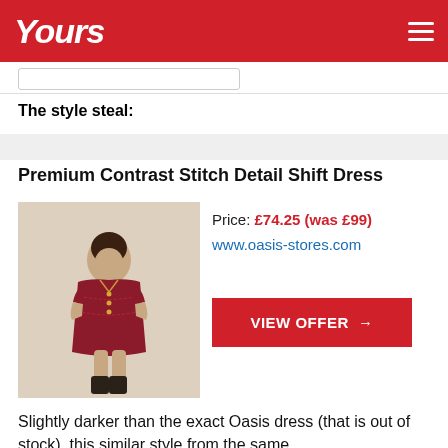Yours
The style steal:
Premium Contrast Stitch Detail Shift Dress
[Figure (photo): Woman wearing a dark red shift dress with contrast stitch detail and short sleeves, styled with black ankle boots]
Price: £74.25 (was £99)
www.oasis-stores.com
VIEW OFFER →
Slightly darker than the exact Oasis dress (that is out of stock), this similar style from the same